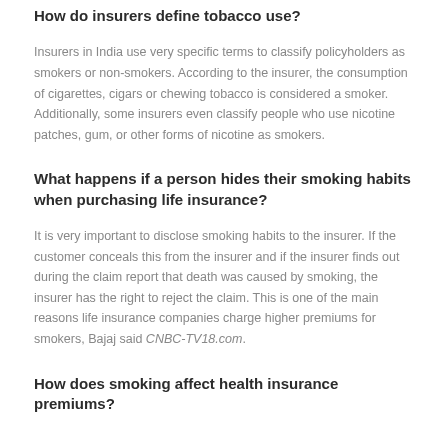How do insurers define tobacco use?
Insurers in India use very specific terms to classify policyholders as smokers or non-smokers. According to the insurer, the consumption of cigarettes, cigars or chewing tobacco is considered a smoker. Additionally, some insurers even classify people who use nicotine patches, gum, or other forms of nicotine as smokers.
What happens if a person hides their smoking habits when purchasing life insurance?
It is very important to disclose smoking habits to the insurer. If the customer conceals this from the insurer and if the insurer finds out during the claim report that death was caused by smoking, the insurer has the right to reject the claim. This is one of the main reasons life insurance companies charge higher premiums for smokers, Bajaj said CNBC-TV18.com.
How does smoking affect health insurance premiums?